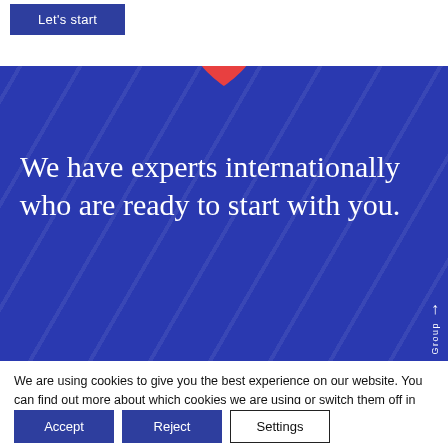[Figure (other): Blue 'Let's start' button at top of page]
[Figure (illustration): Blue banner with decorative diagonal lines, a red heart icon at top center, and large serif white text reading 'We have experts internationally who are ready to start with you.' A scroll-up arrow with label 'Group' appears on the right side.]
We are using cookies to give you the best experience on our website. You can find out more about which cookies we are using or switch them off in settings.
Accept
Reject
Settings